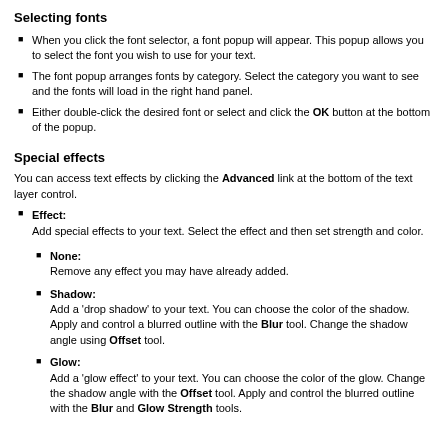Selecting fonts
When you click the font selector, a font popup will appear. This popup allows you to select the font you wish to use for your text.
The font popup arranges fonts by category. Select the category you want to see and the fonts will load in the right hand panel.
Either double-click the desired font or select and click the OK button at the bottom of the popup.
Special effects
You can access text effects by clicking the Advanced link at the bottom of the text layer control.
Effect:
Add special effects to your text. Select the effect and then set strength and color.
None:
Remove any effect you may have already added.
Shadow:
Add a 'drop shadow' to your text. You can choose the color of the shadow. Apply and control a blurred outline with the Blur tool. Change the shadow angle using Offset tool.
Glow:
Add a 'glow effect' to your text. You can choose the color of the glow. Change the shadow angle with the Offset tool. Apply and control the blurred outline with the Blur and Glow Strength tools.